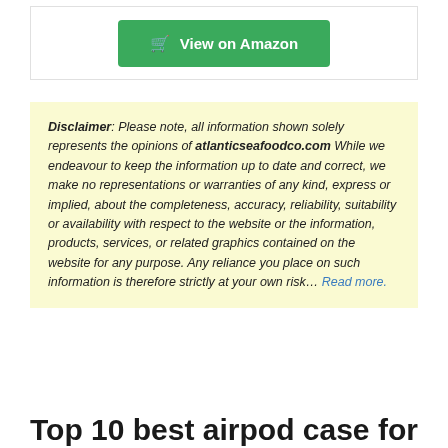[Figure (other): Green 'View on Amazon' button with shopping cart icon inside a bordered box]
Disclaimer: Please note, all information shown solely represents the opinions of atlanticseafoodco.com While we endeavour to keep the information up to date and correct, we make no representations or warranties of any kind, express or implied, about the completeness, accuracy, reliability, suitability or availability with respect to the website or the information, products, services, or related graphics contained on the website for any purpose. Any reliance you place on such information is therefore strictly at your own risk... Read more.
Top 10 best airpod case for